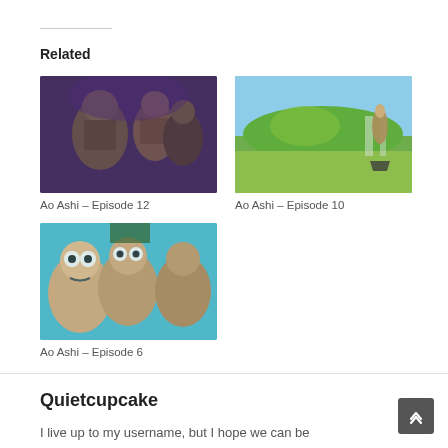Related
[Figure (photo): Anime screenshot thumbnail for Ao Ashi Episode 12 showing three characters in dark/purple toned scene]
Ao Ashi – Episode 12
[Figure (photo): Anime screenshot thumbnail for Ao Ashi Episode 10 showing outdoor scene with character standing on green hill]
Ao Ashi – Episode 10
[Figure (photo): Anime screenshot thumbnail for Ao Ashi Episode 6 showing three young characters with surprised expressions in teal-toned scene]
Ao Ashi – Episode 6
Quietcupcake
I live up to my username, but I hope we can be